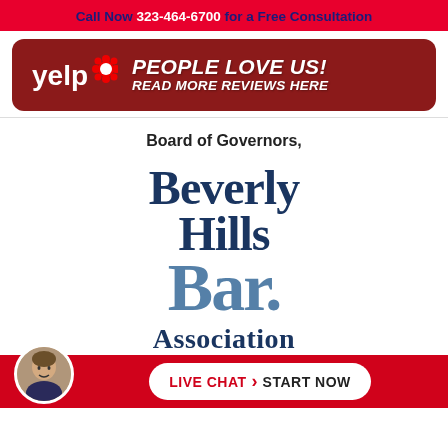Call Now 323-464-6700 for a Free Consultation
[Figure (logo): Yelp banner with text: PEOPLE LOVE US! READ MORE REVIEWS HERE]
Board of Governors,
[Figure (logo): Beverly Hills Bar Association logo with stacked text: Beverly Hills Bar Association]
LIVE CHAT › START NOW